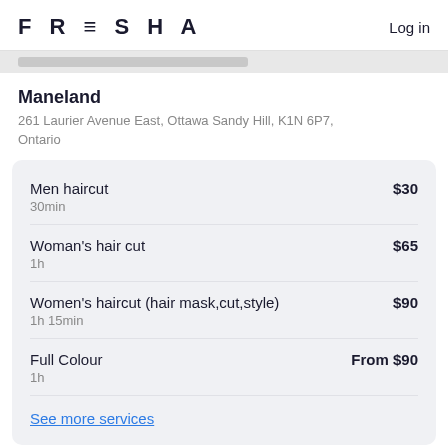FRESHA   Log in
Maneland
261 Laurier Avenue East, Ottawa Sandy Hill, K1N 6P7, Ontario
Men haircut
30min
$30
Woman's hair cut
1h
$65
Women's haircut (hair mask,cut,style)
1h 15min
$90
Full Colour
1h
From $90
See more services